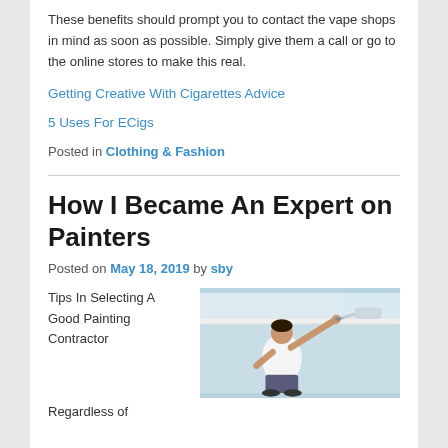These benefits should prompt you to contact the vape shops in mind as soon as possible. Simply give them a call or go to the online stores to make this real.
Getting Creative With Cigarettes Advice
5 Uses For ECigs
Posted in Clothing & Fashion
How I Became An Expert on Painters
Posted on May 18, 2019 by sby
Tips In Selecting A Good Painting Contractor
[Figure (photo): A person in a white shirt painting or working on a wall/ceiling with a roller, viewed from behind.]
Regardless of